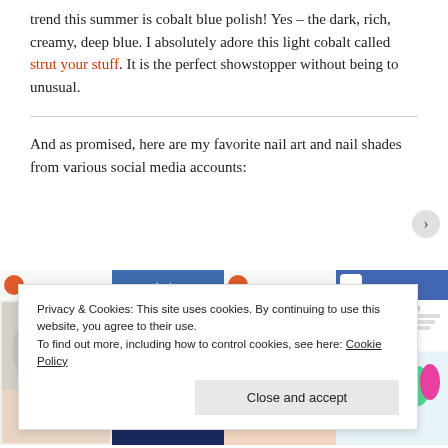trend this summer is cobalt blue polish! Yes – the dark, rich, creamy, deep blue. I absolutely adore this light cobalt called strut your stuff. It is the perfect showstopper without being to unusual.
And as promised, here are my favorite nail art and nail shades from various social media accounts:
[Figure (photo): Four social media screenshot panels side by side showing nail art photos from Instagram and Facebook/Julep, featuring various nail designs including silver gem nails, dark blue glitter nails, pink nail polish bottle with black and white geometric nails, and colorful ombre nails with Julep polish bottle.]
Privacy & Cookies: This site uses cookies. By continuing to use this website, you agree to their use.
To find out more, including how to control cookies, see here: Cookie Policy
Close and accept